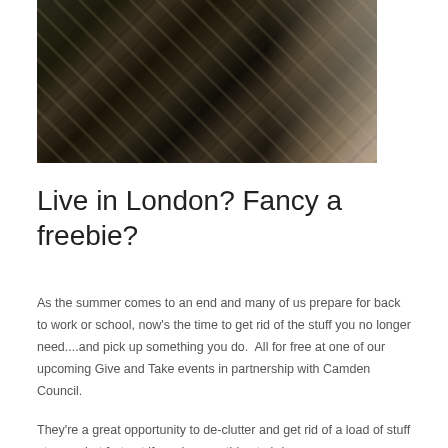[Figure (photo): A person wearing a dark plaid/tartan shirt or dress, standing indoors on what appears to be a wooden parquet floor. Other clothing items and bags are visible in the background.]
Live in London? Fancy a freebie?
As the summer comes to an end and many of us prepare for back to work or school, now's the time to get rid of the stuff you no longer need....and pick up something you do.  All for free at one of our upcoming Give and Take events in partnership with Camden Council.
They're a great opportunity to de-clutter and get rid of a load of stuff at once, but fret not if you have nothing to bring as you